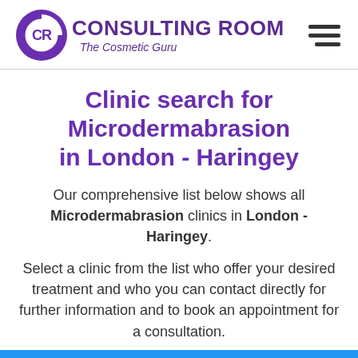[Figure (logo): Consulting Room logo with purple circular CR icon and text 'CONSULTING ROOM - The Cosmetic Guru']
Clinic search for Microdermabrasion in London - Haringey
Our comprehensive list below shows all Microdermabrasion clinics in London - Haringey.
Select a clinic from the list who offer your desired treatment and who you can contact directly for further information and to book an appointment for a consultation.